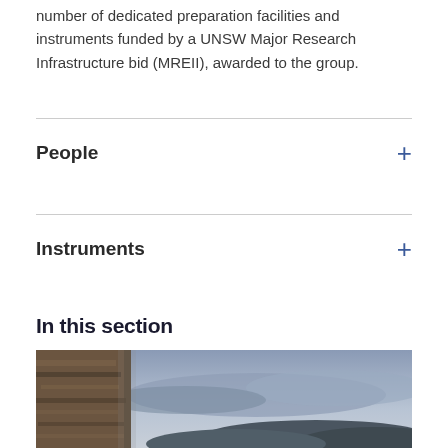number of dedicated preparation facilities and instruments funded by a UNSW Major Research Infrastructure bid (MREII), awarded to the group.
People
Instruments
In this section
[Figure (photo): Outdoor landscape photograph showing rocky cliff face on the left and a dramatic overcast sky with distant hills in the background.]